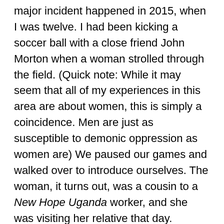major incident happened in 2015, when I was twelve. I had been kicking a soccer ball with a close friend John Morton when a woman strolled through the field. (Quick note: While it may seem that all of my experiences in this area are about women, this is simply a coincidence. Men are just as susceptible to demonic oppression as women are) We paused our games and walked over to introduce ourselves. The woman, it turns out, was a cousin to a New Hope Uganda worker, and she was visiting her relative that day.
John introduced himself, then shook her hand. I did likewise, but the moment I touched her hand, I felt something was wrong. I knew that something was